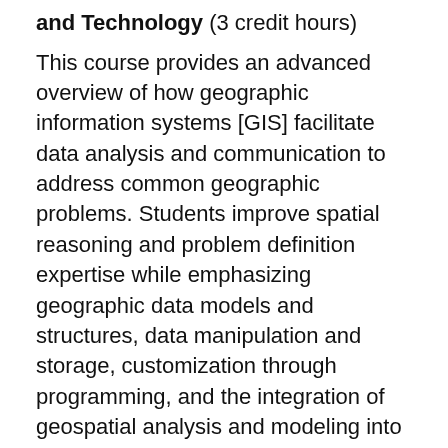and Technology (3 credit hours)
This course provides an advanced overview of how geographic information systems [GIS] facilitate data analysis and communication to address common geographic problems. Students improve spatial reasoning and problem definition expertise while emphasizing geographic data models and structures, data manipulation and storage, customization through programming, and the integration of geospatial analysis and modeling into project-based problem solving applicable to a variety of disciplines. Skilled application of both desktop and cloud-based GIS software supports these areas. Extensive independent learning and computer experiences include virtual laboratory sessions, alongside optional online or in-person weekly help sessions to facilitate